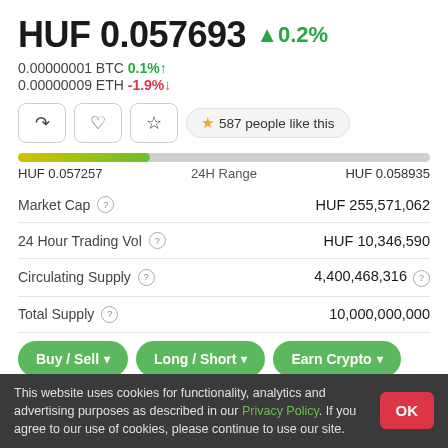HUF 0.057693 ▲0.2%
0.00000001 BTC 0.1%↑
0.00000009 ETH -1.9%↓
[Figure (infographic): Share, bell, and star icon buttons plus '587 people like this' pill]
[Figure (infographic): 24H range bar from HUF 0.057257 to HUF 0.058935, partially filled]
| Market Cap ⓘ | HUF 255,571,062 |
| 24 Hour Trading Vol ⓘ | HUF 10,346,590 |
| Circulating Supply ⓘ | 4,400,468,316 ⓘ |
| Total Supply ⓘ | 10,000,000,000 |
Buy / Sell ▾   Long / Short ▾   Earn Crypto ▾
This website uses cookies for functionality, analytics and advertising purposes as described in our Privacy Policy. If you agree to our use of cookies, please continue to use our site.